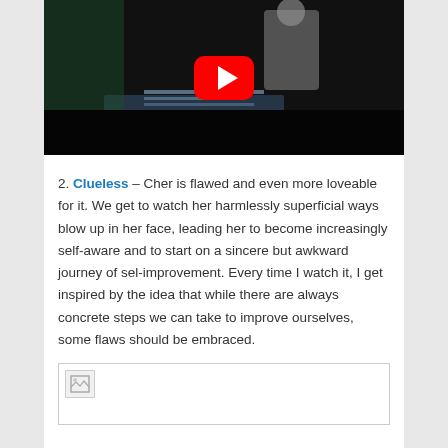[Figure (screenshot): YouTube video thumbnail showing a dark scene with a person in a white tank top, with the YouTube play button overlay centered on the image.]
2. Clueless – Cher is flawed and even more loveable for it. We get to watch her harmlessly superficial ways blow up in her face, leading her to become increasingly self-aware and to start on a sincere but awkward journey of sel-improvement. Every time I watch it, I get inspired by the idea that while there are always concrete steps we can take to improve ourselves, some flaws should be embraced.
[Figure (photo): A partially loaded image placeholder (broken image icon) inside a bordered box at the bottom of the page.]